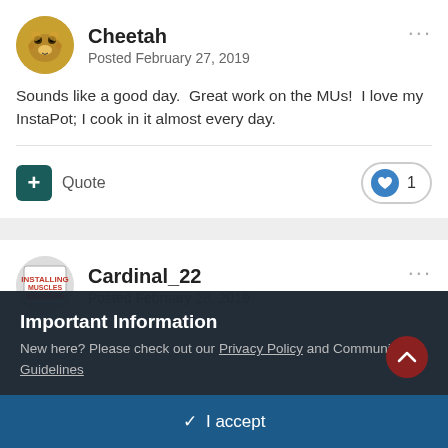Cheetah
Posted February 27, 2019
Sounds like a good day.  Great work on the MUs!  I love my InstaPot; I cook in it almost every day.
Cardinal_22
Posted February 28, 2019
Important Information
New here? Please check out our Privacy Policy and Community Guidelines
I accept